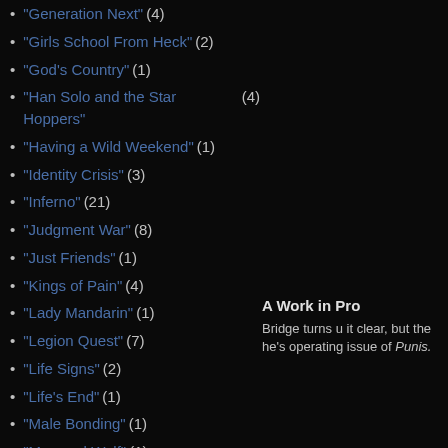"Generation Next" (4)
"Girls School From Heck" (2)
"God's Country" (1)
"Han Solo and the Star Hoppers" (4)
"Having a Wild Weekend" (1)
"Identity Crisis" (3)
"Inferno" (21)
"Judgment War" (8)
"Just Friends" (1)
"Kings of Pain" (4)
"Lady Mandarin" (1)
"Legion Quest" (7)
"Life Signs" (2)
"Life's End" (1)
"Male Bonding" (1)
"Man and Wolf" (1)
"Mutant Genesis" (4)
"Mutant Massacre" (11)
"Old Soldiers" (2)
"Omega Red" (4)
"On the Road" (1)
"Phalanx Covenant" (13)
"Pharaoh's Legacy" (1)
A Work in Pro Bridge turns u it clear, but the he's operating issue of Punis.